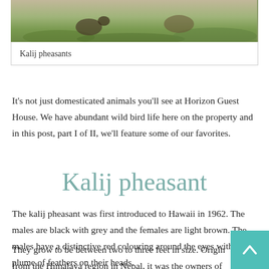[Figure (photo): Photo of kalij pheasants on grass, showing brown/grey plumage birds on green grass]
Kalij pheasants
It’s not just domesticated animals you’ll see at Horizon Guest House. We have abundant wild bird life here on the property and in this post, part I of II, we’ll feature some of our favorites.
Kalij pheasant
The kalij pheasant was first introduced to Hawaii in 1962. The males are black with grey and the females are light brown. The males have a distinctive red colouring around the eyes with a plume of feathers on their heads.
They grow to be between two to three feet in size. Originally from the Himalaya region in Nepal, it was the owners of Wa’awa’a Ranch who first brought the kalij pheasants to the